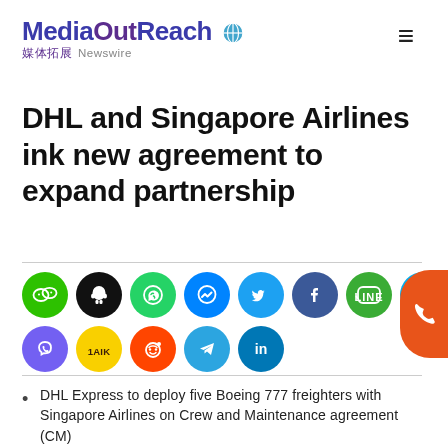MediaOutReach 媒体拓展 Newswire
DHL and Singapore Airlines ink new agreement to expand partnership
[Figure (infographic): Social media sharing icons: WeChat, QQ, WhatsApp, Facebook Messenger, Twitter, Facebook, LINE, Skype (top row); Viber, KakaoTalk, Reddit, Telegram, LinkedIn (bottom row)]
DHL Express to deploy five Boeing 777 freighters with Singapore Airlines on Crew and Maintenance agreement (CM)